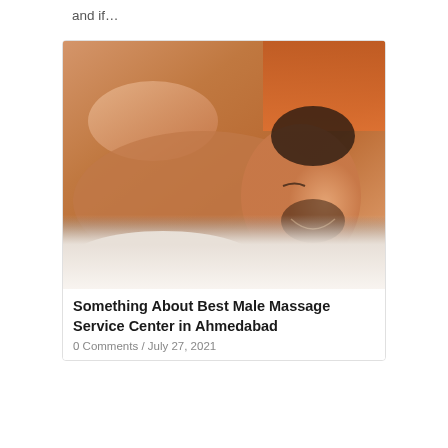and if...
[Figure (photo): A man lying face down on a massage table smiling, receiving a back massage from a therapist whose hands are visible pressing on his upper back. The background is warm orange/brown tones.]
Something About Best Male Massage Service Center in Ahmedabad
0 Comments / July 27, 2021